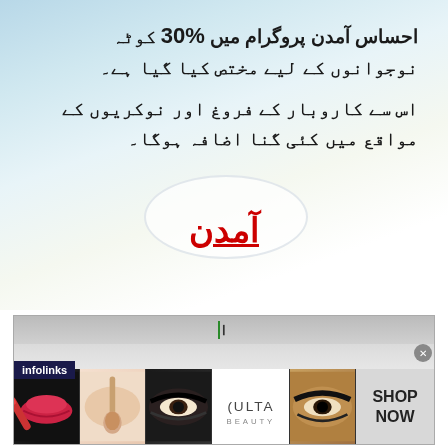احساس آمدن پروگرام میں %30 کوٹہ نوجوانوں کے لیے مختص کیا گیا ہے۔ اس سے کاروبار کے فروغ اور نوکریوں کے مواقع میں کئی گنا اضافہ ہوگا۔
آمدن
[Figure (infographic): Advertisement banner showing beauty/makeup themed images including lips, makeup brush, eye makeup, Ulta Beauty logo, and a SHOP NOW call to action. Contains infolinks label.]